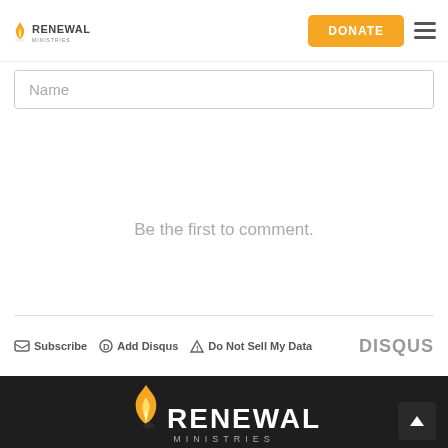[Figure (logo): Renewal Ministries logo in header: small flame icon with 'RENEWAL' text]
DONATE
Name
Be the first to comment.
Subscribe   Add Disqus   Do Not Sell My Data   DISQUS
[Figure (logo): Renewal Ministries large footer logo on dark background: flame icon with RENEWAL MINISTRIES text]